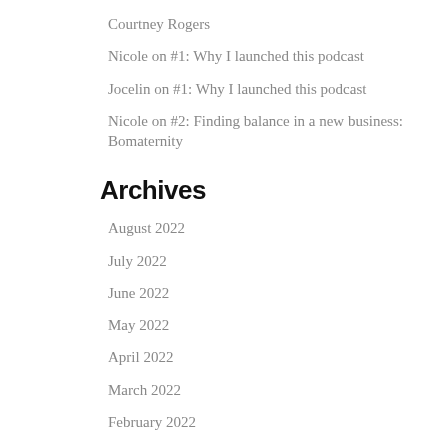Courtney Rogers
Nicole on #1: Why I launched this podcast
Jocelin on #1: Why I launched this podcast
Nicole on #2: Finding balance in a new business: Bomaternity
Archives
August 2022
July 2022
June 2022
May 2022
April 2022
March 2022
February 2022
January 2022